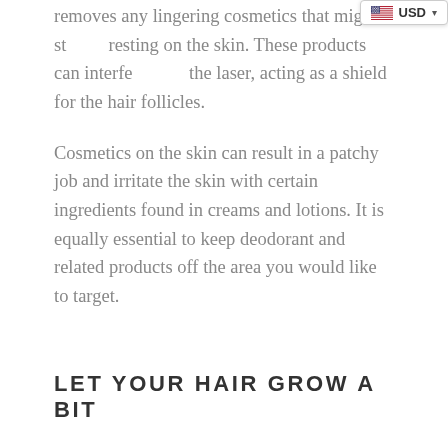removes any lingering cosmetics that might still be resting on the skin. These products can interfere with the laser, acting as a shield for the hair follicles.
Cosmetics on the skin can result in a patchy job and irritate the skin with certain ingredients found in creams and lotions. It is equally essential to keep deodorant and related products off the area you would like to target.
LET YOUR HAIR GROW A BIT
Though it might seem unconventional, it will be a much easier process for you if the area you want to have treated grows out a little. Especially true if it is your first ever session. However, do not let it grow too long; let it grow to where it is just visible.